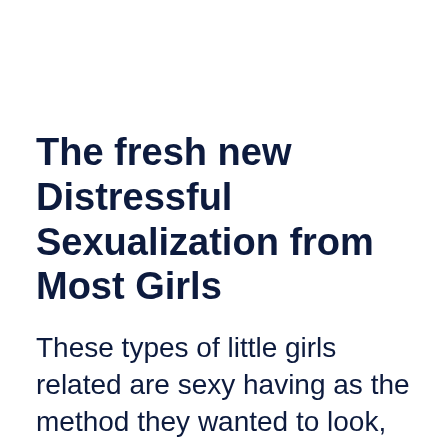The fresh new Distressful Sexualization from Most Girls
These types of little girls related are sexy having as the method they wanted to look, getting well-known at school, and exactly who they